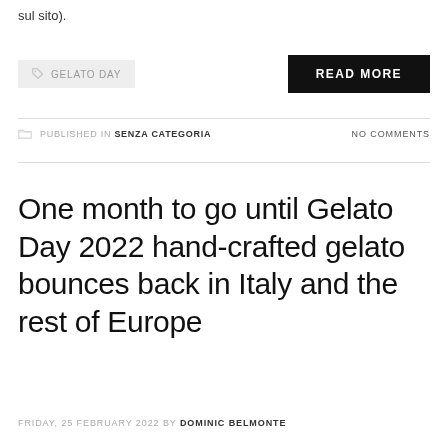sul sito).
GELATO DAY
READ MORE
PUBLISHED IN SENZA CATEGORIA   NO COMMENTS
One month to go until Gelato Day 2022 hand-crafted gelato bounces back in Italy and the rest of Europe
FRIDAY, 25 FEBRUARY 2022 BY DOMINIC BELMONTE